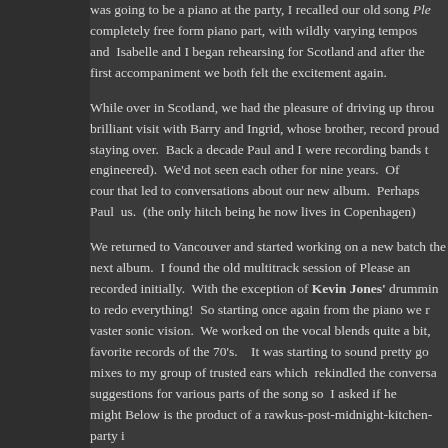was going to be a piano at the party, I recalled our old song Ple completely free form piano part, with wildly varying tempos and  Isabelle and I began rehearsing for Scotland and after the first accompaniment we both felt the excitement again.
While over in Scotland, we had the pleasure of driving up throu brilliant visit with Barry and Ingrid, whose brother, record proud staying over.  Back a decade Paul and I were recording bands t engineered).  We'd not seen each other for nine years.  Of cour that led to conversations about our new album.  Perhaps Paul  us.  (the only hitch being he now lives in Copenhagen)
We returned to Vancouver and started working on a new batch the next album.  I found the old multitrack session of Please an recorded initially.  With the exception of Kevin Jones' drummin to redo everything!  So starting once again from the piano we r vaster sonic vision.  We worked on the vocal blends quite a bit, favorite records of the 70's.    It was starting to sound pretty go mixes to my group of trusted ears which  rekindled the conversa suggestions for various parts of the song so  I asked if he might Below is the product of a rawkus-post-midnight-kitchen-party i
It's Still On.